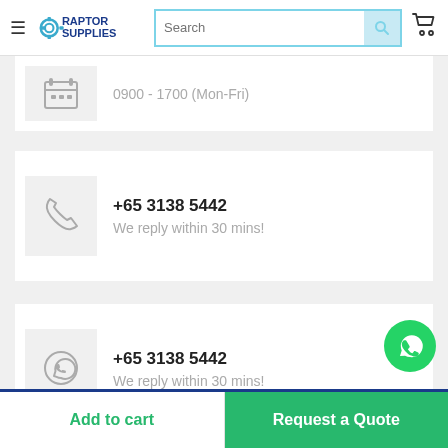Raptor Supplies - Search bar and navigation
0900 - 1700 (Mon-Fri)
+65 3138 5442
We reply within 30 mins!
+65 3138 5442
We reply within 30 mins!
[Figure (other): WhatsApp floating action button (green circle with WhatsApp logo)]
Add to cart
Request a Quote